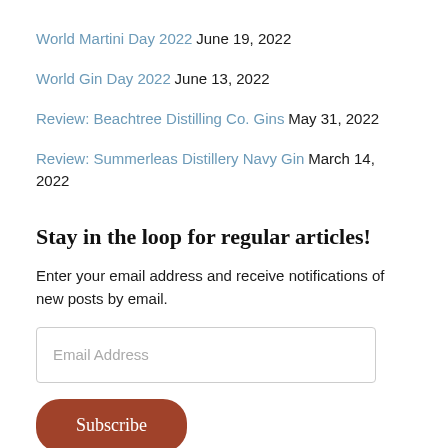World Martini Day 2022 June 19, 2022
World Gin Day 2022 June 13, 2022
Review: Beachtree Distilling Co. Gins May 31, 2022
Review: Summerleas Distillery Navy Gin March 14, 2022
Stay in the loop for regular articles!
Enter your email address and receive notifications of new posts by email.
Email Address
Subscribe